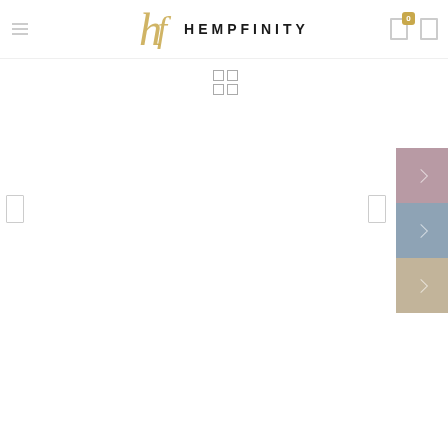[Figure (logo): Hempfinity brand logo with stylized script 'hf' monogram in gold and 'HEMPFINITY' text in dark serif/sans letters]
[Figure (screenshot): E-commerce product listing page for Hempfinity with navigation bar, grid view toggle icon, left/right product navigation arrows, and three color swatch options (mauve/pink, steel blue, tan/beige) on the right side]